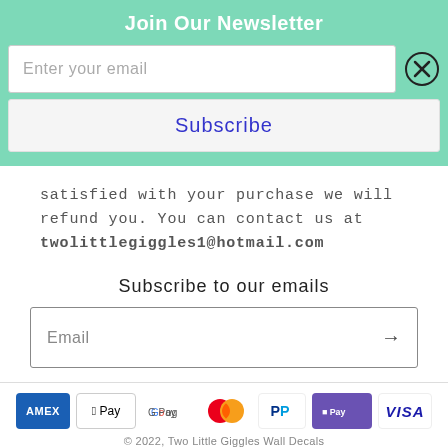Join Our Newsletter
Enter your email
Subscribe
satisfied with your purchase we will refund you. You can contact us at twolittlegiggles1@hotmail.com
Subscribe to our emails
Email
[Figure (other): Payment method icons: American Express, Apple Pay, Google Pay, Mastercard, PayPal, Shop Pay, Visa]
© 2022, Two Little Giggles Wall Decals